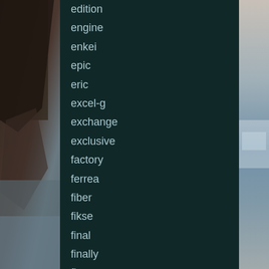[Figure (photo): Rocky coastal cliffside scene on left side with ocean waves in background, muted blue-grey tones on right side]
edition
engine
enkei
epic
eric
excel-g
exchange
exclusive
factory
ferrea
fiber
fikse
final
finally
first
fits
forgiato
forgotten
found